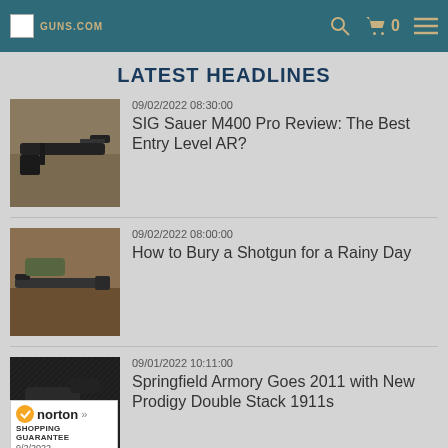GUNS.COM
LATEST HEADLINES
[Figure (photo): Photo of a black AR-15 rifle on a wooden surface]
09/02/2022 08:30:00 SIG Sauer M400 Pro Review: The Best Entry Level AR?
[Figure (photo): Photo of a shotgun and accessories on brown dirt/leaves ground]
09/02/2022 08:00:00 How to Bury a Shotgun for a Rainy Day
[Figure (photo): Close-up photo of a handgun on a dark textured surface]
09/01/2022 10:11:00 Springfield Armory Goes 2011 with New Prodigy Double Stack 1911s
[Figure (logo): Norton Shopping Guarantee badge, dated 9/2/2022]